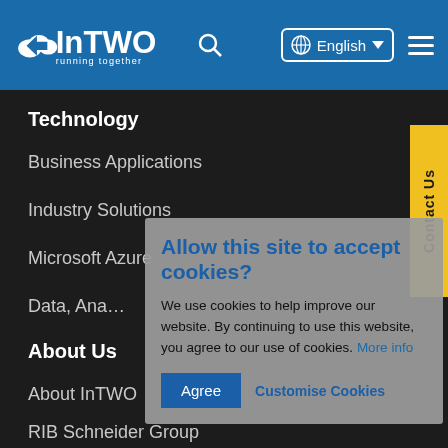[Figure (logo): InTWO logo with cloud icon and text 'running together' on blue header background]
InTWO running together — English language selector, search icon, hamburger menu
Technology
Business Applications
Industry Solutions
Microsoft Azure
Data, Ana…
About Us
About InTWO
RIB Schneider Group
Allow this site to accept cookies?
We use cookies to help improve our website. By continuing to use this website, you agree to our use of cookies. More info
Agree | Customise Cookies